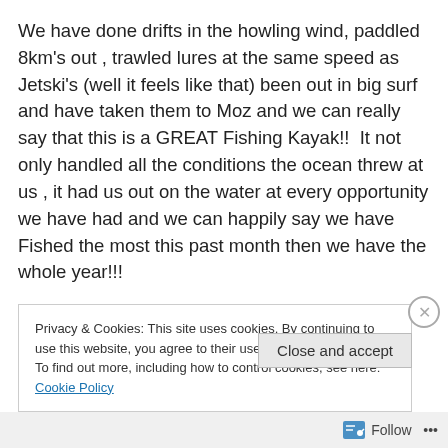We have done drifts in the howling wind, paddled 8km's out , trawled lures at the same speed as Jetski's (well it feels like that) been out in big surf and have taken them to Moz and we can really say that this is a GREAT Fishing Kayak!!  It not only handled all the conditions the ocean threw at us , it had us out on the water at every opportunity we have had and we can happily say we have Fished the most this past month then we have the whole year!!!
Privacy & Cookies: This site uses cookies. By continuing to use this website, you agree to their use.
To find out more, including how to control cookies, see here: Cookie Policy
Close and accept
Follow